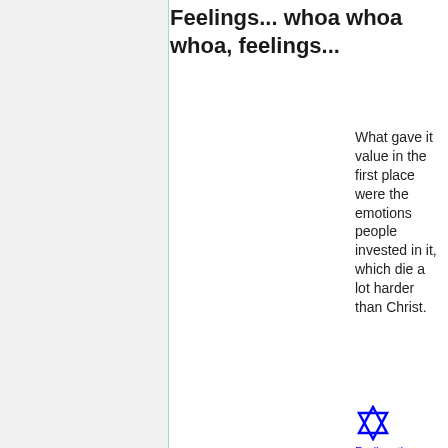Feelings... whoa whoa whoa, feelings...
What gave it value in the first place were the emotions people invested in it, which die a lot harder than Christ.
Radioactiv...